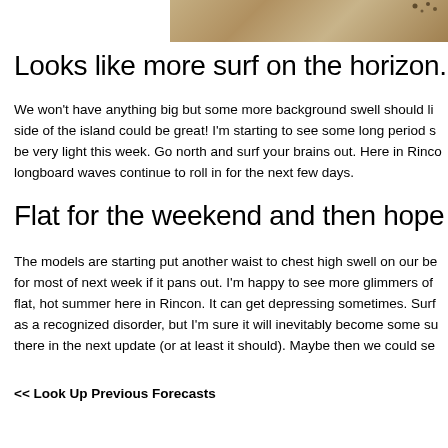[Figure (photo): Partial beach/sand photo strip at top right of page]
Looks like more surf on the horizon.
We won't have anything big but some more background swell should li... side of the island could be great! I'm starting to see some long period s... be very light this week. Go north and surf your brains out. Here in Rinco... longboard waves continue to roll in for the next few days.
Flat for the weekend and then hope aro...
The models are starting put another waist to chest high swell on our be... for most of next week if it pans out. I'm happy to see more glimmers of... flat, hot summer here in Rincon. It can get depressing sometimes. Surf... as a recognized disorder, but I'm sure it will inevitably become some su... there in the next update (or at least it should). Maybe then we could se...
<< Look Up Previous Forecasts